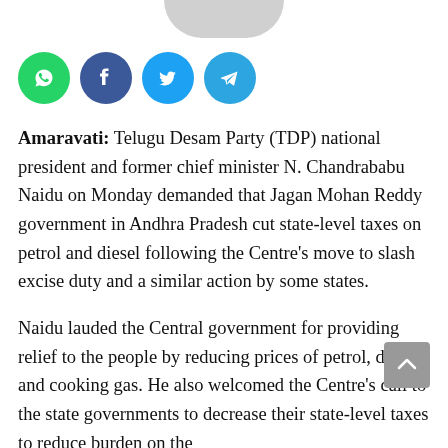[Figure (illustration): Social media sharing icons: WhatsApp (green), Facebook (dark blue), Twitter (light blue), Telegram (light blue)]
Amaravati: Telugu Desam Party (TDP) national president and former chief minister N. Chandrababu Naidu on Monday demanded that Jagan Mohan Reddy government in Andhra Pradesh cut state-level taxes on petrol and diesel following the Centre's move to slash excise duty and a similar action by some states.
Naidu lauded the Central government for providing relief to the people by reducing prices of petrol, diesel and cooking gas. He also welcomed the Centre's call to the state governments to decrease their state-level taxes to reduce burden on the